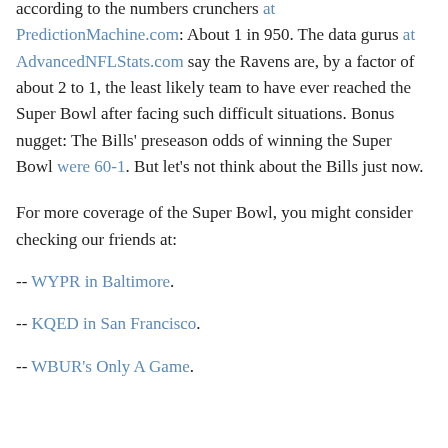according to the numbers crunchers at PredictionMachine.com: About 1 in 950. The data gurus at AdvancedNFLStats.com say the Ravens are, by a factor of about 2 to 1, the least likely team to have ever reached the Super Bowl after facing such difficult situations. Bonus nugget: The Bills' preseason odds of winning the Super Bowl were 60-1. But let's not think about the Bills just now.
For more coverage of the Super Bowl, you might consider checking our friends at:
-- WYPR in Baltimore.
-- KQED in San Francisco.
-- WBUR's Only A Game.